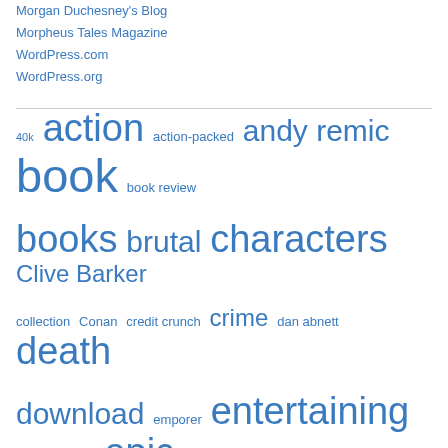Morgan Duchesney's Blog
Morpheus Tales Magazine
WordPress.com
WordPress.org
[Figure (infographic): Tag cloud with words of varying sizes in blue, representing blog tags including: 40k, action, action-packed, andy remic, book, book review, books, brutal, characters, Clive Barker, collection, Conan, credit crunch, crime, dan abnett, death, download, emporer, entertaining, entertainment, epic, excitement, exciting, fantasy, fiction, Fighting, film, finance, free, free magazine, gary mcmahon, hero, horror, horror novel, horus, heresy, ideas, interview, james bond, literature]